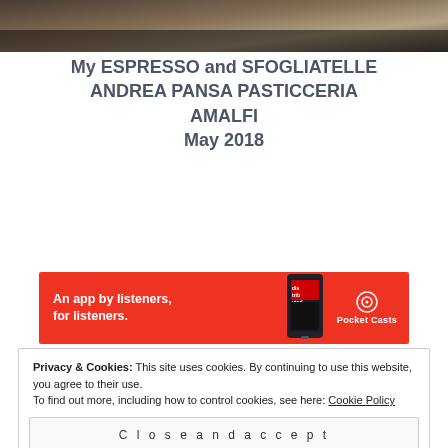[Figure (photo): Partial photo of food or espresso at top of page]
My ESPRESSO and SFOGLIATELLE ANDREA PANSA PASTICCERIA AMALFI May 2018
[Figure (other): Pocket Casts advertisement banner: An app by listeners, for listeners.]
Privacy & Cookies: This site uses cookies. By continuing to use this website, you agree to their use.
To find out more, including how to control cookies, see here: Cookie Policy
Close and accept